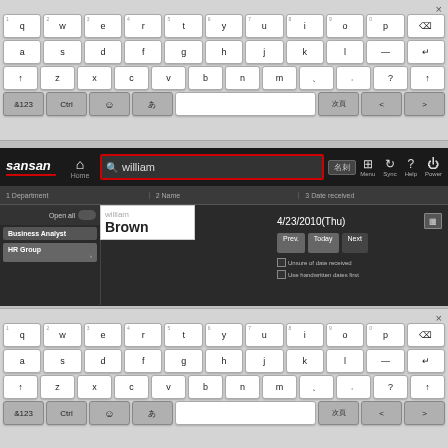[Figure (screenshot): On-screen keyboard (top) showing QWERTY layout with Japanese input support, close button (×) at top right]
[Figure (screenshot): Sansan app interface showing search for 'william' with autocomplete showing 'william Brown', date filter 4/23/2010(Thu), department panel with Business Analyst and HR Group]
[Figure (screenshot): On-screen keyboard (bottom) showing QWERTY layout with Japanese input support, close button (×) at top right]